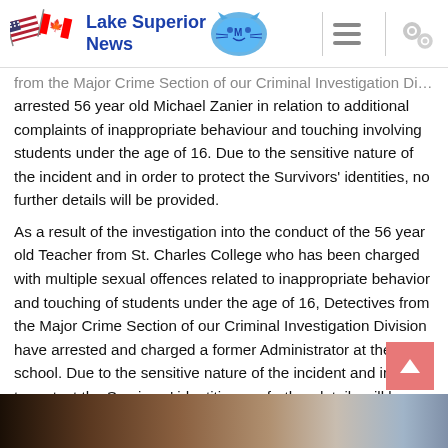Lake Superior News
from the Major Crime Section of our Criminal Investigation Division, arrested 56 year old Michael Zanier in relation to additional complaints of inappropriate behaviour and touching involving students under the age of 16. Due to the sensitive nature of the incident and in order to protect the Survivors' identities, no further details will be provided.
As a result of the investigation into the conduct of the 56 year old Teacher from St. Charles College who has been charged with multiple sexual offences related to inappropriate behavior and touching of students under the age of 16, Detectives from the Major Crime Section of our Criminal Investigation Division have arrested and charged a former Administrator at the school. Due to the sensitive nature of the incident and in order to protect the Survivors' identities, no further details will be provided
#LSN_Crime #LSN_Sexoffender #LSN_GSPS #LSN_Sudbury
[Figure (photo): Partial bottom image strip showing blurred figures/scene]